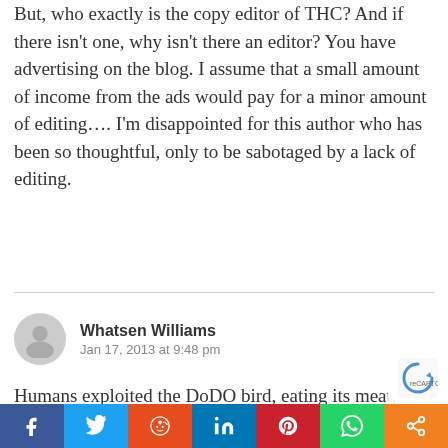But, who exactly is the copy editor of THC? And if there isn't one, why isn't there an editor? You have advertising on the blog. I assume that a small amount of income from the ads would pay for a minor amount of editing…. I'm disappointed for this author who has been so thoughtful, only to be sabotaged by a lack of editing.
Reply
Whatsen Williams
Jan 17, 2013 at 9:48 pm
Humans exploited the DoDO bird, eating its meat, killing the last one in 1861. The meat of health care is being devoured by the HIT vendors, converting it to excrement.